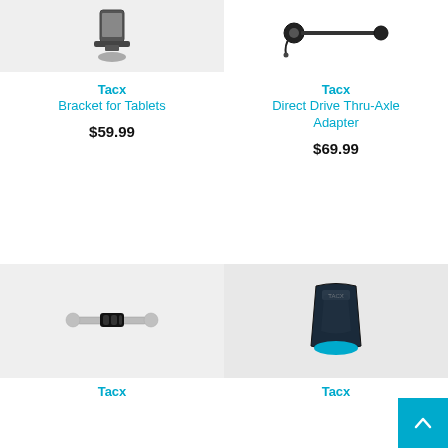[Figure (photo): Tacx Bracket for Tablets product image - top portion of tablet bracket accessory]
Tacx
Bracket for Tablets
$59.99
[Figure (photo): Tacx Direct Drive Thru-Axle Adapter product image showing a thru-axle rod with end fittings]
Tacx
Direct Drive Thru-Axle Adapter
$69.99
[Figure (photo): Tacx product image showing a dumbbell-shaped axle or skewer with black end cap]
Tacx
[Figure (photo): Tacx front wheel holder/trainer accessory in dark blue with cyan accent]
Tacx